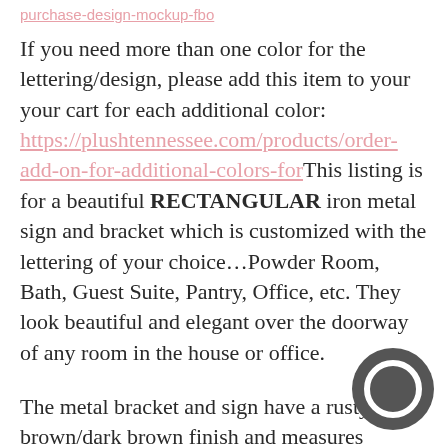purchase-design-mockup-fbo
If you need more than one color for the lettering/design, please add this item to your your cart for each additional color: https://plushtennessee.com/products/order-add-on-for-additional-colors-forThis listing is for a beautiful RECTANGULAR iron metal sign and bracket which is customized with the lettering of your choice…Powder Room, Bath, Guest Suite, Pantry, Office, etc. They look beautiful and elegant over the doorway of any room in the house or office.
The metal bracket and sign have a rusty brown/dark brown finish and measures approximately 12" against the wall and